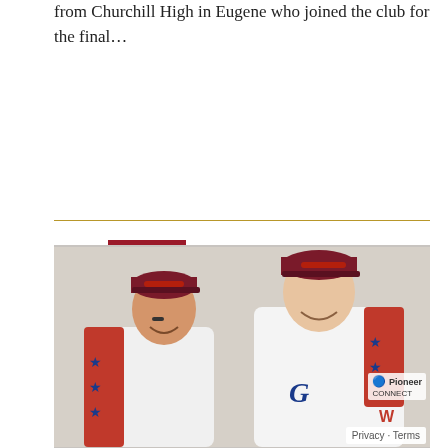from Churchill High in Eugene who joined the club for the final…
[Figure (photo): Two young baseball players in red, white and blue star-patterned jerseys with matching caps, smiling together indoors. Both wear team caps with a logo. A 'Pioneer Connect' watermark and 'Privacy - Terms' badge appear in the bottom right corner.]